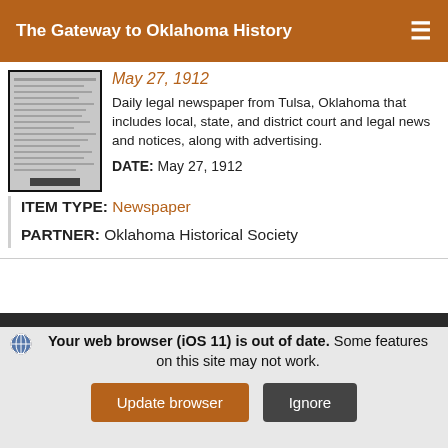The Gateway to Oklahoma History
May 27, 1912
Daily legal newspaper from Tulsa, Oklahoma that includes local, state, and district court and legal news and notices, along with advertising.
DATE: May 27, 1912
ITEM TYPE: Newspaper
PARTNER: Oklahoma Historical Society
Your web browser (iOS 11) is out of date. Some features on this site may not work.